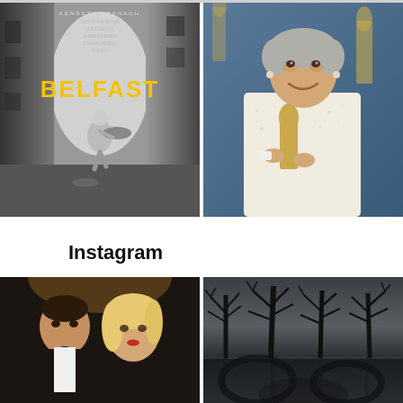[Figure (photo): Belfast movie poster - black and white image of a child running down an alley with umbrella, title BELFAST in yellow text, director Kenneth Branagh credits at top]
[Figure (photo): Elderly woman with short grey hair holding an Oscar award, wearing a white sparkly jacket, smiling at camera in front of Oscar statues backdrop]
Instagram
[Figure (photo): Dark moody film still showing a man in a tuxedo/bow tie and a blonde woman, dramatic lighting]
[Figure (photo): Dark atmospheric landscape with bare trees silhouetted against a grey sky, reflected in water below]